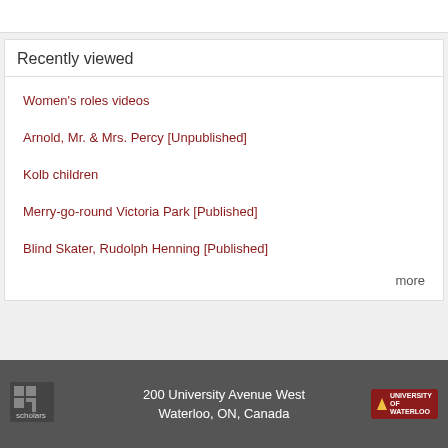Recently viewed
Women's roles videos
Arnold, Mr. & Mrs. Percy [Unpublished]
Kolb children
Merry-go-round Victoria Park [Published]
Blind Skater, Rudolph Henning [Published]
more
200 University Avenue West
Waterloo, ON, Canada